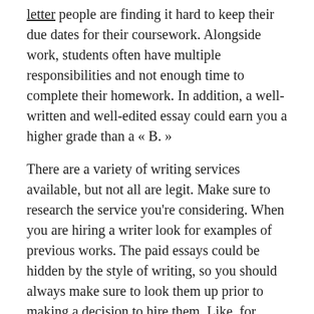letter people are finding it hard to keep their due dates for their coursework. Alongside work, students often have multiple responsibilities and not enough time to complete their homework. In addition, a well-written and well-edited essay could earn you a higher grade than a « B. »
There are a variety of writing services available, but not all are legit. Make sure to research the service you're considering. When you are hiring a writer look for examples of previous works. The paid essays could be hidden by the style of writing, so you should always make sure to look them up prior to making a decision to hire them. Like, for instance, Writers Per Hour offers quality papers that are written by experienced academic writers. Customer service can be reached 24/7 to assist you with any problems or questions you have.